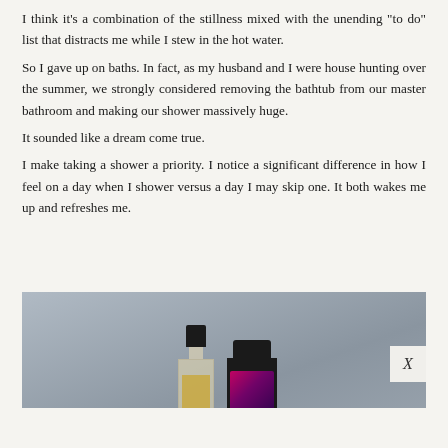I think it’s a combination of the stillness mixed with the unending “to do” list that distracts me while I stew in the hot water. So I gave up on baths. In fact, as my husband and I were house hunting over the summer, we strongly considered removing the bathtub from our master bathroom and making our shower massively huge. It sounded like a dream come true. I make taking a shower a priority. I notice a significant difference in how I feel on a day when I shower versus a day I may skip one. It both wakes me up and refreshes me.
[Figure (photo): Two beauty/personal care product bottles on a gray-blue background. Left bottle is a tall clear bottle with a black cap and gold label. Right bottle is a shorter dark/black bottle with a black cap and a dark floral-patterned label. An X close button appears at the bottom right corner of the image.]